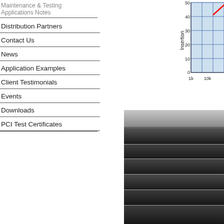Maintenance & Testing Applications Notes
Distribution Partners
Contact Us
News
Application Examples
Client Testimonials
Events
Downloads
PCI Test Certificates
[Figure (continuous-plot): Insertion loss vs frequency chart (partial view), y-axis labeled 'Insertion' with values 0,10,20,30,40,50, x-axis shows 1k and 10k frequency labels, blue gridlines, red line visible at top right]
[Figure (other): Navigation menu background with alternating dark grey gradient horizontal bands/strips]